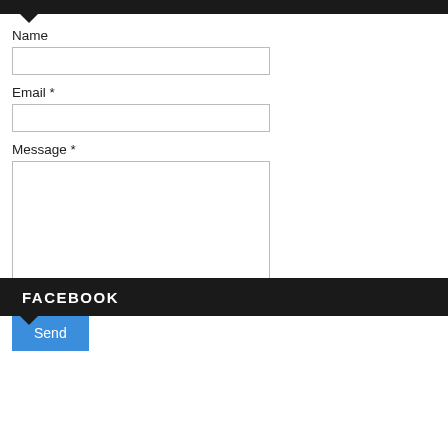Name
Email *
Message *
Send
FACEBOOK